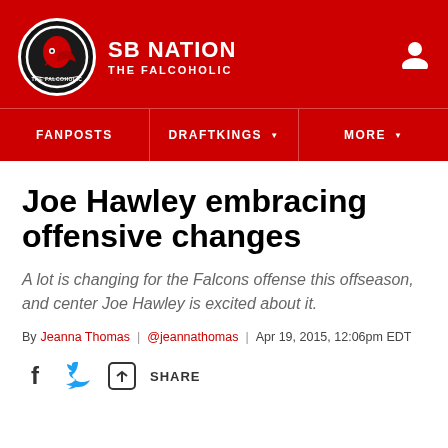SB NATION | THE FALCOHOLIC
Joe Hawley embracing offensive changes
A lot is changing for the Falcons offense this offseason, and center Joe Hawley is excited about it.
By Jeanna Thomas | @jeannathomas | Apr 19, 2015, 12:06pm EDT